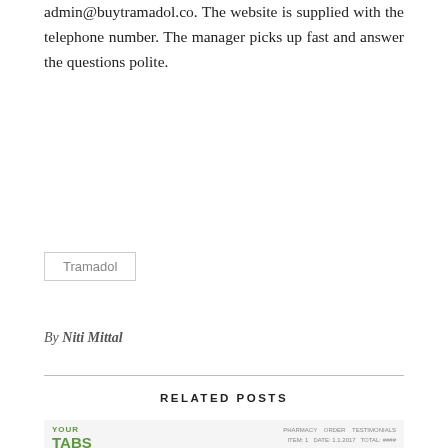admin@buytramadol.co. The website is supplied with the telephone number. The manager picks up fast and answer the questions polite.
Tramadol
By Niti Mittal
RELATED POSTS
[Figure (screenshot): Screenshot of malez.net website showing the site logo with large red 'malez.net' text on a cyan background bar, with website header and navigation details above.]
malez.net Review: The Website Which Provides